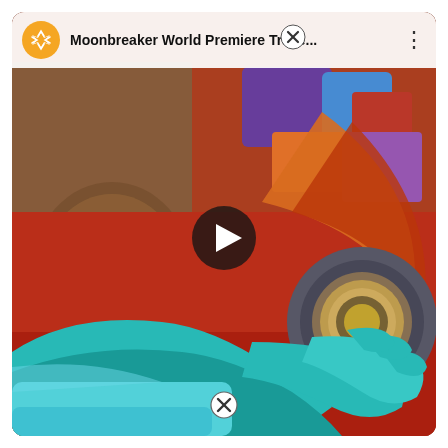[Figure (screenshot): A YouTube-style video player overlay showing a game trailer for 'Moonbreaker World Premiere Traile...' with a colorful animated scene featuring a teal-gloved hand gripping a mechanical wheel/gear object. The background shows blurred game environment with red, orange, teal, brown and purple colors. A play button is centered on the video. The top bar shows a channel icon (orange circle with white symbol), the truncated video title, a close/X button, and a three-dot menu. A close/X button also appears at the bottom center.]